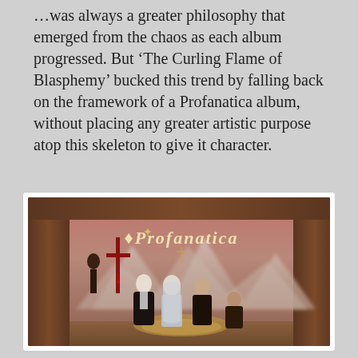…was always a greater philosophy that emerged from the chaos as each album progressed. But 'The Curling Flame of Blasphemy' bucked this trend by falling back on the framework of a Profanatica album, without placing any greater artistic purpose atop this skeleton to give it character.
[Figure (illustration): Album cover artwork for Profanatica showing gothic lettering 'Profanatica' at the top, with dark atmospheric painting depicting four robed figures standing together in a rustic barn-like setting with muted red and brown tones, mountains in background.]